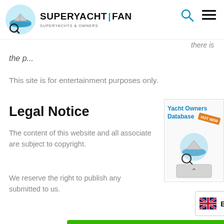[Figure (logo): SuperYachtFan logo with circular blue wave icon and magnifying glass, text SUPERYACHT|FAN, SUPERYACHTS & OWNERS]
there is
the p...
This site is for entertainment purposes only.
Legal Notice
The content of this website and all associate are subject to copyright.
[Figure (illustration): Yacht Owners Database advertisement with SuperYachtFan logo and hot new badge]
We reserve the right to publish any submitted to us.
[Figure (other): Language selector showing UK flag and EN with chevron]
[Figure (other): Green VISIT SITE call-to-action button]
International Mail Parcel
Ad